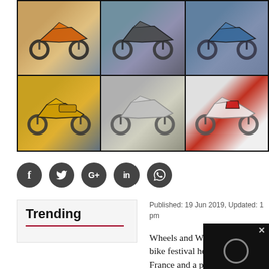[Figure (photo): Grid of 6 motorcycle photos — top row: orange sport bike, dark sport bike, blue sport bike; bottom row: yellow naked bike, silver custom bike, red/white retro cafe racer — photographed outdoors near beach/coastal setting]
[Figure (other): Row of 5 circular dark social media sharing icons: Facebook (f), Twitter (bird), Google+ (G+), LinkedIn (in), WhatsApp]
Published: 19 Jun 2019, Updated: 1 pm
Trending
Wheels and Waves is an annual bike festival held in Biarritz, France and a platform for custom bike builders to showcase their creations. This attracts bigwig which was keen in
[Figure (screenshot): Small dark video overlay with X close button and circular loading/play ring icon in lower right corner]